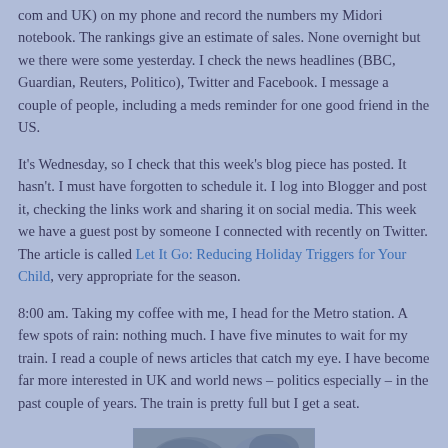com and UK) on my phone and record the numbers my Midori notebook. The rankings give an estimate of sales. None overnight but we there were some yesterday. I check the news headlines (BBC, Guardian, Reuters, Politico), Twitter and Facebook. I message a couple of people, including a meds reminder for one good friend in the US.
It's Wednesday, so I check that this week's blog piece has posted. It hasn't. I must have forgotten to schedule it. I log into Blogger and post it, checking the links work and sharing it on social media. This week we have a guest post by someone I connected with recently on Twitter. The article is called Let It Go: Reducing Holiday Triggers for Your Child, very appropriate for the season.
8:00 am. Taking my coffee with me, I head for the Metro station. A few spots of rain: nothing much. I have five minutes to wait for my train. I read a couple of news articles that catch my eye. I have become far more interested in UK and world news – politics especially – in the past couple of years. The train is pretty full but I get a seat.
[Figure (photo): Partially visible photograph at the bottom of the page, appears to show an outdoor or nature scene, cropped at the page bottom.]